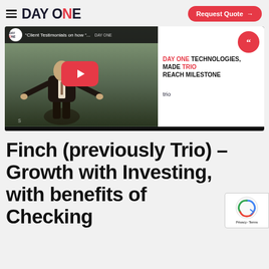DAY ONE — Request Quote
[Figure (screenshot): YouTube video thumbnail showing a man in a dark suit with arms outstretched, in front of a glass window. Video title: 'Client Testimonials on how...' with DAY ONE logo. Right panel shows text: 'DAY ONE TECHNOLOGIES, MADE TRIO REACH MILESTONE' and the word 'trio' below.]
Finch (previously Trio) – Growth with Investing, with benefits of Checking